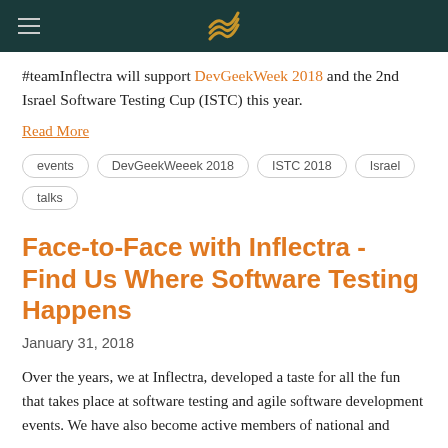[Navigation header with logo]
#teamInflectra will support DevGeekWeek 2018 and the 2nd Israel Software Testing Cup (ISTC) this year.
Read More
events
DevGeekWeeek 2018
ISTC 2018
Israel
talks
Face-to-Face with Inflectra - Find Us Where Software Testing Happens
January 31, 2018
Over the years, we at Inflectra, developed a taste for all the fun that takes place at software testing and agile software development events. We have also become active members of national and